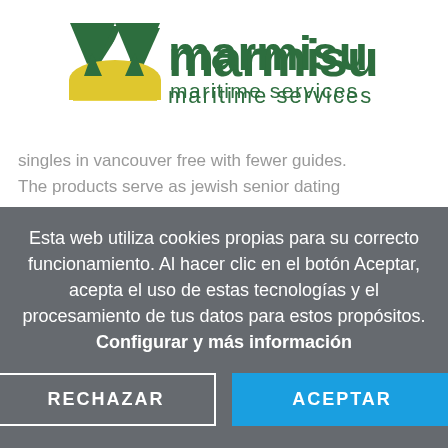[Figure (logo): Marmisur maritime services logo — green M shape with yellow wave accent, green text 'marmisur' and smaller 'maritime services']
singles in vancouver free with fewer guides.
The products serve as jewish senior dating
Esta web utiliza cookies propias para su correcto funcionamiento. Al hacer clic en el botón Aceptar, acepta el uso de estas tecnologías y el procesamiento de tus datos para estos propósitos. Configurar y más información
RECHAZAR
ACEPTAR